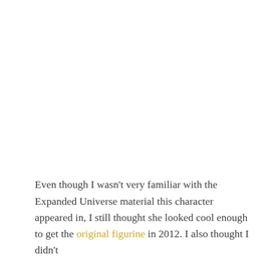Even though I wasn't very familiar with the Expanded Universe material this character appeared in, I still thought she looked cool enough to get the original figurine in 2012. I also thought I didn't